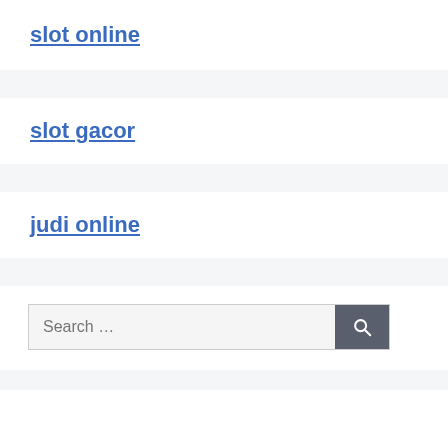slot online
slot gacor
judi online
Search ...